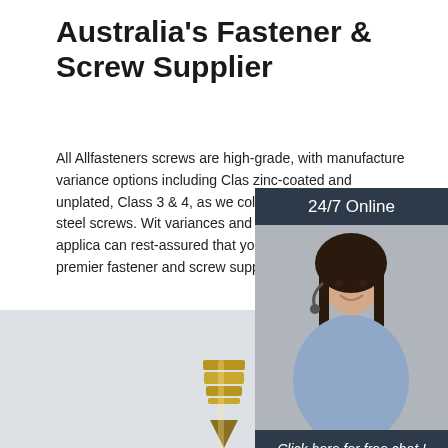Australia's Fastener & Screw Supplier
All Allfasteners screws are high-grade, with manufacture variance options including Clas zinc-coated and unplated, Class 3 & 4, as we collated strip and stainless steel screws. Wit variances and wide range of product applica can rest-assured that you are dealing with A premier fastener and screw supplier.
[Figure (other): Orange 'Get Price' button]
[Figure (other): 24/7 Online chat widget with woman wearing headset, 'Click here for free chat!' text, and orange QUOTATION button]
[Figure (photo): Bottom portion of page showing a gold/brass screw on a light grey background]